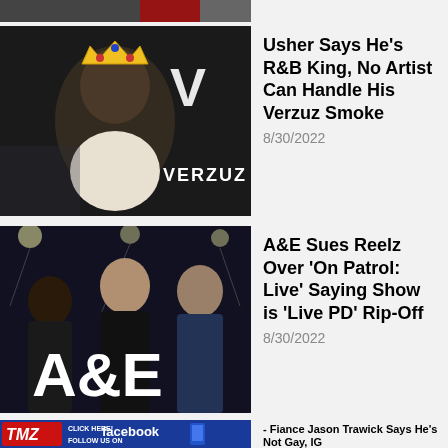[Figure (screenshot): Partial top strip showing cropped image with red element]
[Figure (photo): Usher with crown overlay in front of Verzuz logo background]
Usher Says He's R&B King, No Artist Can Handle His Verzuz Smoke
8/30/2022
[Figure (photo): Three men in dark clothing with A&E logo overlay]
A&E Sues Reelz Over 'On Patrol: Live' Saying Show is 'Live PD' Rip-Off
8/30/2022
[Figure (screenshot): Partial TMZ Facebook follow banner ad with TMZ logo, CLICK HERE!, facebook, FOLLOW US ON text, and partial article image below]
- Fiance Jason Trawick Says He's Not Gay, IG